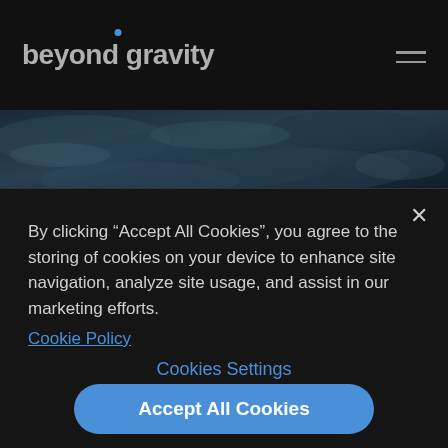beyond gravity
[Figure (photo): Dark aerial or satellite image of Earth's surface/ocean used as hero banner background]
By clicking “Accept All Cookies”, you agree to the storing of cookies on your device to enhance site navigation, analyze site usage, and assist in our marketing efforts. Cookie Policy
Cookies Settings
Accept All Cookies